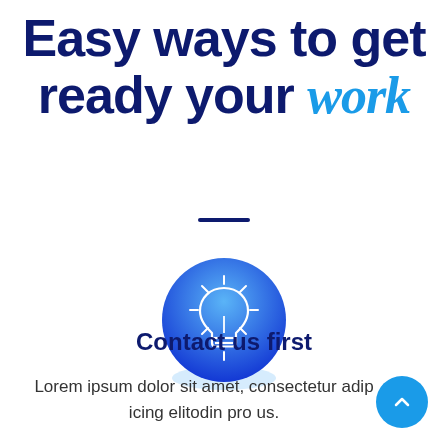Easy ways to get ready your work
[Figure (illustration): Blue gradient circle with white lightbulb icon in the center]
Contact us first
Lorem ipsum dolor sit amet, consectetur adipiscing elitodin pro us.